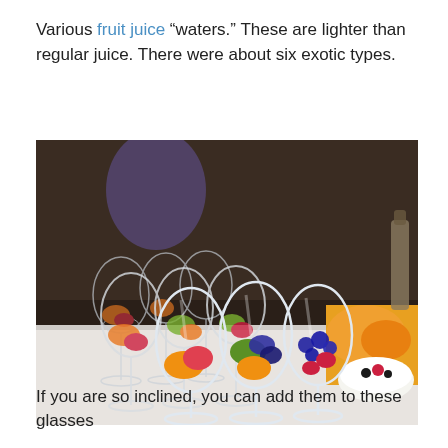Various fruit juice “waters.” These are lighter than regular juice. There were about six exotic types.
[Figure (photo): Multiple wine glasses filled with colorful fruit pieces (oranges, strawberries, blueberries, kiwi) arranged on a white marble table, viewed from a shallow angle. A white bowl with berries is visible on the right side.]
If you are so inclined, you can add them to these glasses